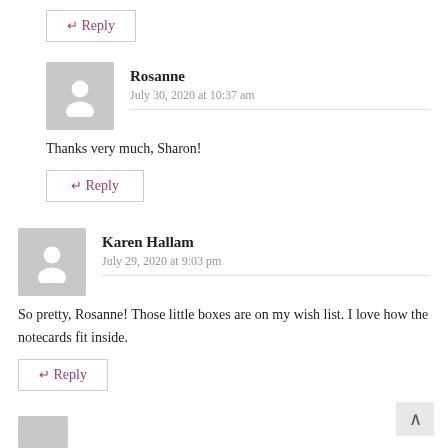↵ Reply
Rosanne
July 30, 2020 at 10:37 am
Thanks very much, Sharon!
↵ Reply
Karen Hallam
July 29, 2020 at 9:03 pm
So pretty, Rosanne! Those little boxes are on my wish list. I love how the notecards fit inside.
↵ Reply